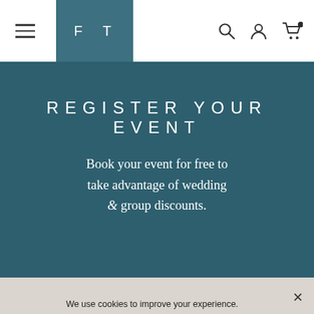FT (navigation bar with hamburger menu, logo, search, account, cart icons)
REGISTER YOUR EVENT
Book your event for free to take advantage of wedding & group discounts.
GET STARTED
We use cookies to improve your experience. Please read our Privacy Policy or click Accept.
BUY
RENT